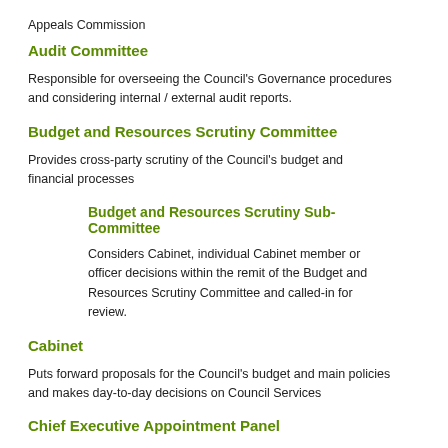Appeals Commission
Audit Committee
Responsible for overseeing the Council's Governance procedures and considering internal / external audit reports.
Budget and Resources Scrutiny Committee
Provides cross-party scrutiny of the Council's budget and financial processes
Budget and Resources Scrutiny Sub-Committee
Considers Cabinet, individual Cabinet member or officer decisions within the remit of the Budget and Resources Scrutiny Committee and called-in for review.
Cabinet
Puts forward proposals for the Council's budget and main policies and makes day-to-day decisions on Council Services
Chief Executive Appointment Panel
To undertake the appointment process for the post of Chief Executive and recommend an appointment to the Council.
Children and Young People Scrutiny Committee